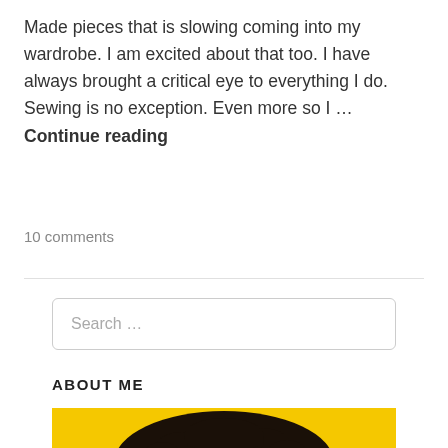Made pieces that is slowing coming into my wardrobe. I am excited about that too. I have always brought a critical eye to everything I do. Sewing is no exception. Even more so I … Continue reading
10 comments
Search …
ABOUT ME
[Figure (photo): Photo of a person with curly dark hair against a bright yellow background, cropped to show top of head.]